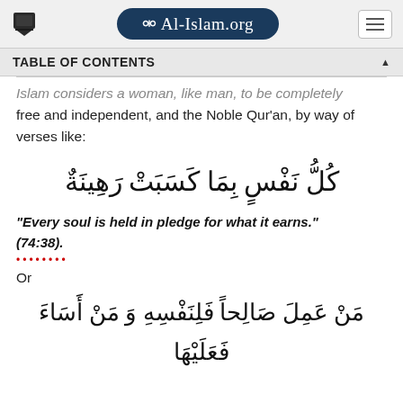Al-Islam.org
TABLE OF CONTENTS
Islam considers a woman, like man, to be completely free and independent, and the Noble Qur'an, by way of verses like:
كُلُّ نَفْسٍ بِمَا كَسَبَتْ رَهِينَةٌ
"Every soul is held in pledge for what it earns." (74:38).
Or
مَنْ عَمِلَ صَالِحاً فَلِنَفْسِهِ وَ مَنْ أَسَاءَ فَعَلَيْهَا